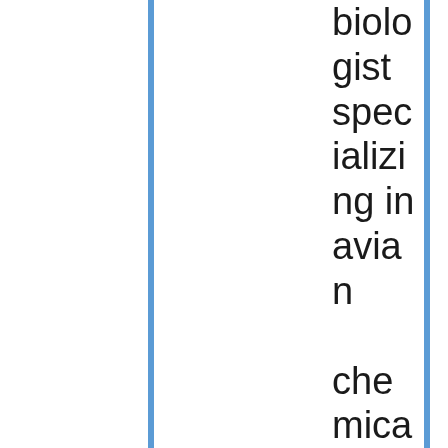biologist specializing in avian chemical ecology. I'm most interested in how bi